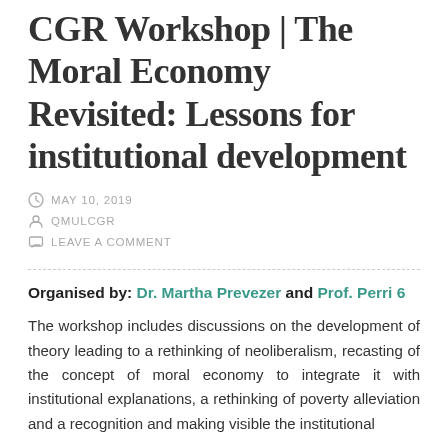CGR Workshop | The Moral Economy Revisited: Lessons for institutional development
MAY 10, 2019
QMULCGR
LEAVE A COMMENT
Organised by: Dr. Martha Prevezer and Prof. Perri 6
The workshop includes discussions on the development of theory leading to a rethinking of neoliberalism, recasting of the concept of moral economy to integrate it with institutional explanations, a rethinking of poverty alleviation and a recognition and making visible the institutional